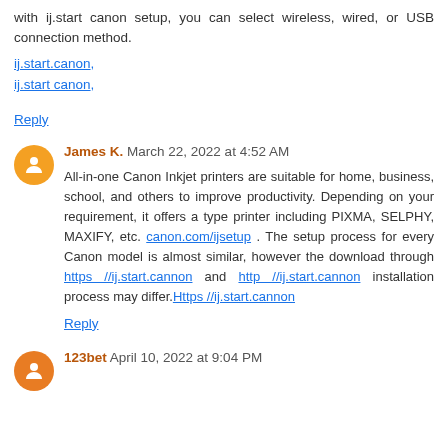with ij.start canon setup, you can select wireless, wired, or USB connection method.
ij.start.canon,
ij.start canon,
Reply
James K.  March 22, 2022 at 4:52 AM
All-in-one Canon Inkjet printers are suitable for home, business, school, and others to improve productivity. Depending on your requirement, it offers a type printer including PIXMA, SELPHY, MAXIFY, etc. canon.com/ijsetup . The setup process for every Canon model is almost similar, however the download through https //ij.start.cannon and http //ij.start.cannon installation process may differ.Https //ij.start.cannon
Reply
123bet  April 10, 2022 at 9:04 PM